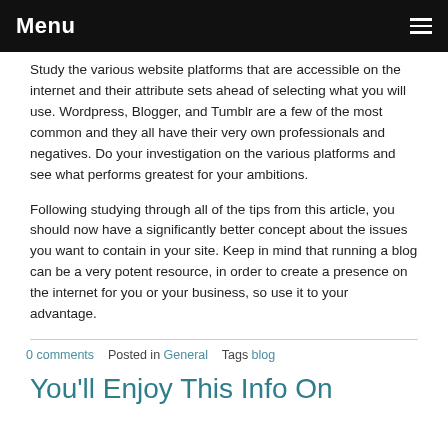Menu
Study the various website platforms that are accessible on the internet and their attribute sets ahead of selecting what you will use. Wordpress, Blogger, and Tumblr are a few of the most common and they all have their very own professionals and negatives. Do your investigation on the various platforms and see what performs greatest for your ambitions.
Following studying through all of the tips from this article, you should now have a significantly better concept about the issues you want to contain in your site. Keep in mind that running a blog can be a very potent resource, in order to create a presence on the internet for you or your business, so use it to your advantage.
0 comments   Posted in General   Tags blog
You'll Enjoy This Info On